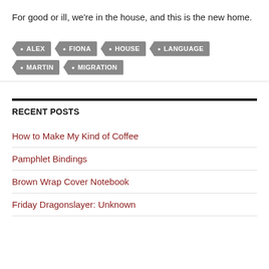For good or ill, we're in the house, and this is the new home.
ALEX
FIONA
HOUSE
LANGUAGE
MARTIN
MIGRATION
RECENT POSTS
How to Make My Kind of Coffee
Pamphlet Bindings
Brown Wrap Cover Notebook
Friday Dragonslayer: Unknown